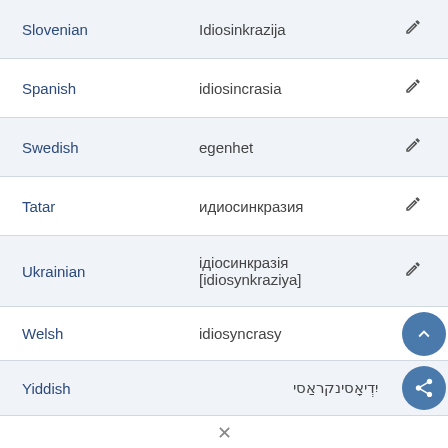| Language | Translation |  |
| --- | --- | --- |
| Slovenian | Idiosinkrazija | ✏ |
| Spanish | idiosincrasia | ✏ |
| Swedish | egenhet | ✏ |
| Tatar | идиосинкразия | ✏ |
| Ukrainian | ідіосинкразія [idiosynkraziya] | ✏ |
| Welsh | idiosyncrasy |  |
| Yiddish | יִדְיאָסינקראַסי |  |